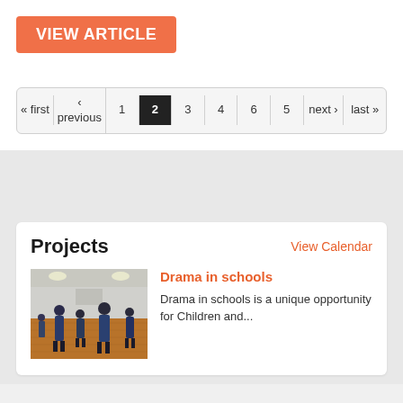VIEW ARTICLE
« first  ‹ previous  1  2  3  4  6  5  next ›  last »
Projects
View Calendar
Drama in schools
Drama in schools is a unique opportunity for Children and...
[Figure (photo): Children in a school gymnasium/hall, viewed from behind, engaged in drama activity on a wooden floor]